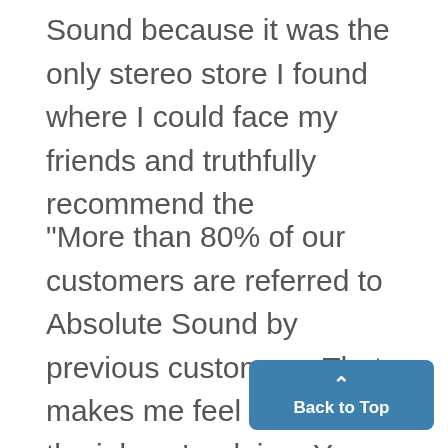Sound because it was the only stereo store I found where I could face my friends and truthfully recommend the
"More than 80% of our customers are referred to Absolute Sound by previous customers. That makes me feel good about the job we're doing. You see, I never "sell" hifi. I just demonstrate it and share my knowledge and experience. Absolute Sound customers are generally self-assured individuals who know sound when they hear it. They